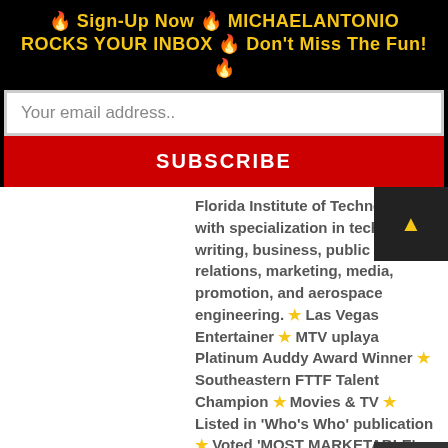🔥 Sign-Up Now 🔥 MICHAELANTONIO ROCKS YOUR INBOX 🔥 Don't Miss The Fun! 🔥
Your email address..
SUBSCRIBE
Florida Institute of Technology with specialization in technical writing, business, public relations, marketing, media, promotion, and aerospace engineering. ★ Las Vegas Entertainer ★ MTV uplaya Platinum Auddy Award Winner ★ Southeastern FTTF Talent Champion ★ Movies & TV ★ Listed in 'Who's Who' publication ★ Voted 'MOST MARKETABLE': Sonic Records ★ U.S. Veteran ★
This website uses cookies
OKAY
MORE INFO